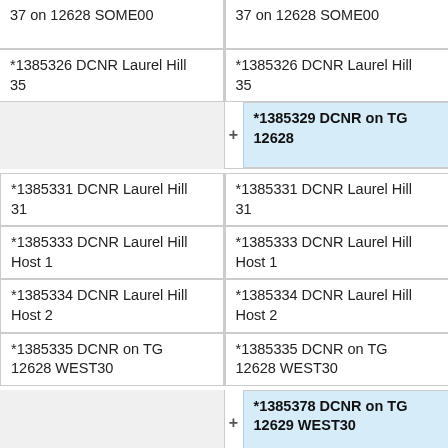37 on 12628 SOME00
37 on 12628 SOME00
*1385326 DCNR Laurel Hill 35
*1385326 DCNR Laurel Hill 35
*1385329 DCNR on TG 12628
*1385331 DCNR Laurel Hill 31
*1385331 DCNR Laurel Hill 31
*1385333 DCNR Laurel Hill Host 1
*1385333 DCNR Laurel Hill Host 1
*1385334 DCNR Laurel Hill Host 2
*1385334 DCNR Laurel Hill Host 2
*1385335 DCNR on TG 12628 WEST30
*1385335 DCNR on TG 12628 WEST30
*1385378 DCNR on TG 12629 WEST30
*1385379 DCNR on TG 12629 WEST30